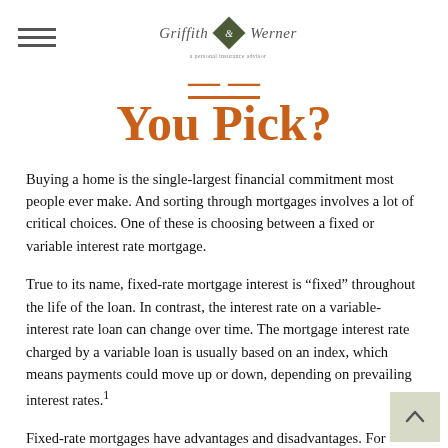Griffith & Werner
You Pick?
Buying a home is the single-largest financial commitment most people ever make. And sorting through mortgages involves a lot of critical choices. One of these is choosing between a fixed or variable interest rate mortgage.
True to its name, fixed-rate mortgage interest is “fixed” throughout the life of the loan. In contrast, the interest rate on a variable-interest rate loan can change over time. The mortgage interest rate charged by a variable loan is usually based on an index, which means payments could move up or down, depending on prevailing interest rates.1
Fixed-rate mortgages have advantages and disadvantages. For example, rates and payments remain